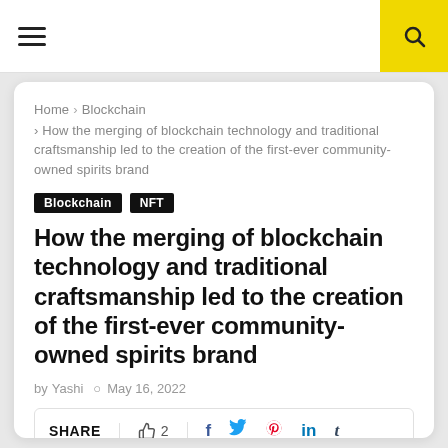≡  🔍
Home > Blockchain > How the merging of blockchain technology and traditional craftsmanship led to the creation of the first-ever community-owned spirits brand
Blockchain
NFT
How the merging of blockchain technology and traditional craftsmanship led to the creation of the first-ever community-owned spirits brand
by Yashi  ⊙ May 16, 2022
SHARE  👍 2  f  🐦  ●  in  t